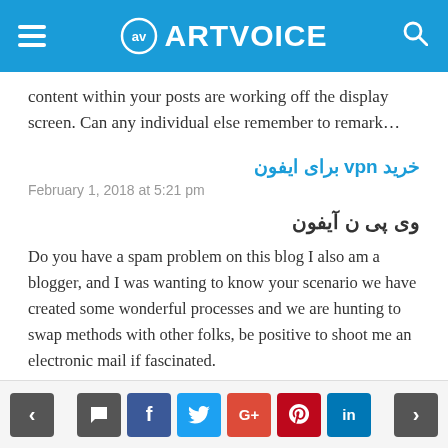ARTVOICE
content within your posts are working off the display screen. Can any individual else remember to remark…
خرید vpn برای ایفون
February 1, 2018 at 5:21 pm
وی پی ن آیفون
Do you have a spam problem on this blog I also am a blogger, and I was wanting to know your scenario we have created some wonderful processes and we are hunting to swap methods with other folks, be positive to shoot me an electronic mail if fascinated.
< comment f t G+ p in >